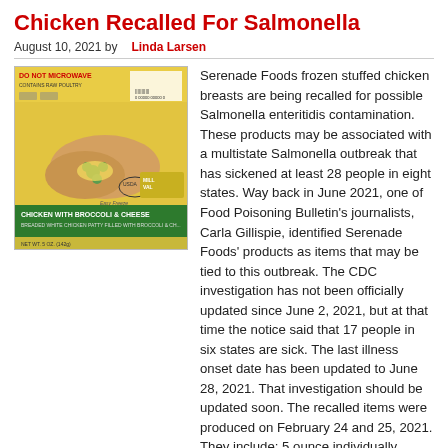Chicken Recalled For Salmonella
August 10, 2021 by Linda Larsen
[Figure (photo): Product photo of Serenade Foods frozen stuffed chicken breasts with broccoli and cheese, showing yellow packaging with green label reading 'CHICKEN WITH BROCCOLI & CHEESE']
Serenade Foods frozen stuffed chicken breasts are being recalled for possible Salmonella enteritidis contamination. These products may be associated with a multistate Salmonella outbreak that has sickened at least 28 people in eight states. Way back in June 2021, one of Food Poisoning Bulletin's journalists, Carla Gillispie, identified Serenade Foods' products as items that may be tied to this outbreak. The CDC investigation has not been officially updated since June 2, 2021, but at that time the notice said that 17 people in six states are sick. The last illness onset date has been updated to June 28, 2021. That investigation should be updated soon. The recalled items were produced on February 24 and 25, 2021. They include: 5 ounce individually plastic-wrapped packages of … [Read more...]